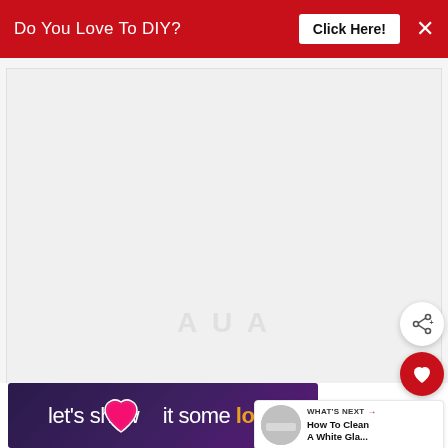Do You Love To DIY? Click Here! ×
[Figure (photo): Large blank/white image area with faint watermark text]
[Figure (infographic): Red circular heart/favorite button (FAB)]
[Figure (infographic): White circular share button (FAB) with share icon]
WHAT'S NEXT → How To Clean A White Gla...
[Figure (infographic): Purple ad banner reading "let's show it some love" with pink heart and logo]